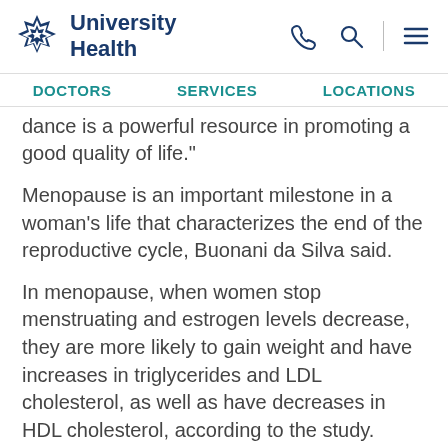University Health
DOCTORS   SERVICES   LOCATIONS
dance is a powerful resource in promoting a good quality of life."
Menopause is an important milestone in a woman's life that characterizes the end of the reproductive cycle, Buonani da Silva said.
In menopause, when women stop menstruating and estrogen levels decrease, they are more likely to gain weight and have increases in triglycerides and LDL cholesterol, as well as have decreases in HDL cholesterol, according to the study. Some women may also lose self-esteem and have reduced positive self-image.